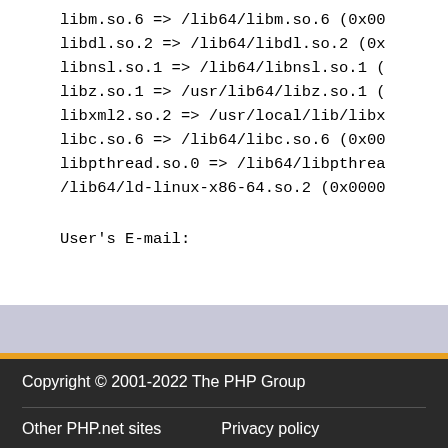libm.so.6 => /lib64/libm.so.6 (0x00
libdl.so.2 => /lib64/libdl.so.2 (0x
libnsl.so.1 => /lib64/libnsl.so.1 (
libz.so.1 => /usr/lib64/libz.so.1 (
libxml2.so.2 => /usr/local/lib/libx
libc.so.6 => /lib64/libc.so.6 (0x00
libpthread.so.0 => /lib64/libpthrea
/lib64/ld-linux-x86-64.so.2 (0x0000
User's E-mail:
Copyright © 2001-2022 The PHP Group
Other PHP.net sites    Privacy policy